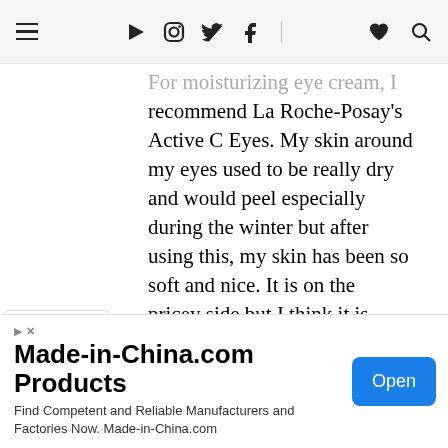☰ ▶ Instagram Twitter Facebook ♥ Search
For moisturizing eye cream, I recommend La Roche-Posay's Active C Eyes. My skin around my eyes used to be really dry and would peel especially during the winter but after using this, my skin has been so soft and nice. It is on the pricey side but I think it is definitely worth it. Here is the link to their website: http://www.laroche-
[Figure (screenshot): Advertisement banner for Made-in-China.com Products with Open button]
Made-in-China.com Products
Find Competent and Reliable Manufacturers and Factories Now. Made-in-China.com